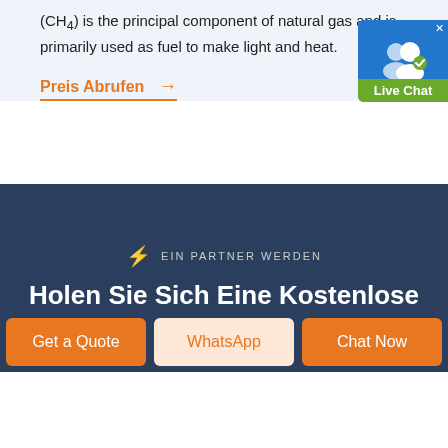(CH4) is the principal component of natural gas and is primarily used as fuel to make light and heat.
Preis Abrufen →
[Figure (illustration): Live Chat widget with two person icons and green 'Live Chat' label, blue background, with X close button]
EIN PARTNER WERDEN
Holen Sie Sich Eine Kostenlose
Get a Quote
WhatsApp
Chat Now